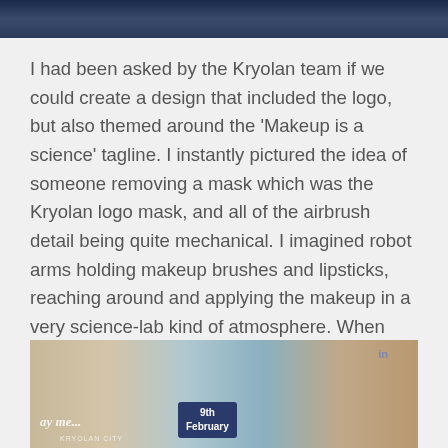[Figure (photo): Top portion of a photo showing people in dark blue clothing, cropped at the top of the page]
I had been asked by the Kryolan team if we could create a design that included the logo, but also themed around the 'Makeup is a science' tagline. I instantly pictured the idea of someone removing a mask which was the Kryolan logo mask, and all of the airbrush detail being quite mechanical. I imagined robot arms holding makeup brushes and lipsticks, reaching around and applying the makeup in a very science-lab kind of atmosphere. When sketching ideas the makeup brushes and lipsticks were hard to make it clear what they actually were, so instead I went for the idea of the robot arms holding airbrushes as they are much more distinctive in their style.
[Figure (photo): Bottom photo showing a Kryolan City event storefront with a banner reading '9th February', script text overlay, and a LinkedIn logo watermark in the upper right]